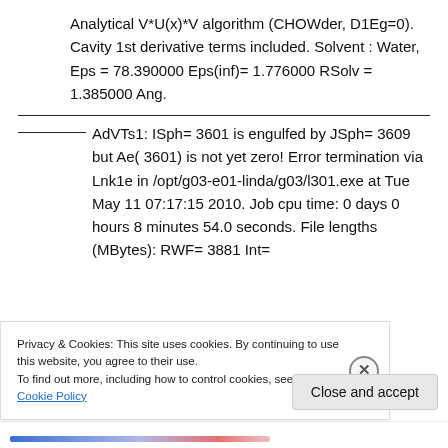Analytical V*U(x)*V algorithm (CHOWder, D1Eg=0). Cavity 1st derivative terms included. Solvent : Water, Eps = 78.390000 Eps(inf)= 1.776000 RSolv = 1.385000 Ang.
AdVTs1: ISph= 3601 is engulfed by JSph= 3609 but Ae( 3601) is not yet zero! Error termination via Lnk1e in /opt/g03-e01-linda/g03/l301.exe at Tue May 11 07:17:15 2010. Job cpu time: 0 days 0 hours 8 minutes 54.0 seconds. File lengths (MBytes): RWF= 3881 Int=
Privacy & Cookies: This site uses cookies. By continuing to use this website, you agree to their use.
To find out more, including how to control cookies, see here: Cookie Policy